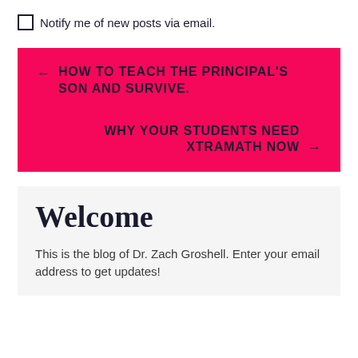Notify me of new posts via email.
← HOW TO TEACH THE PRINCIPAL'S SON AND SURVIVE.
WHY YOUR STUDENTS NEED XTRAMATH NOW →
Welcome
This is the blog of Dr. Zach Groshell. Enter your email address to get updates!